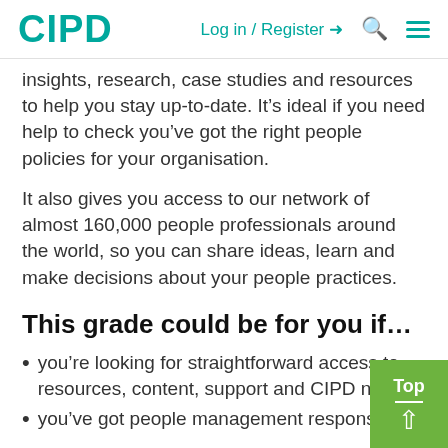CIPD | Log in / Register | Search | Menu
insights, research, case studies and resources to help you stay up-to-date. It’s ideal if you need help to check you’ve got the right people policies for your organisation.
It also gives you access to our network of almost 160,000 people professionals around the world, so you can share ideas, learn and make decisions about your people practices.
This grade could be for you if…
you’re looking for straightforward access to resources, content, support and CIPD networ…
you’ve got people management responsibilit…